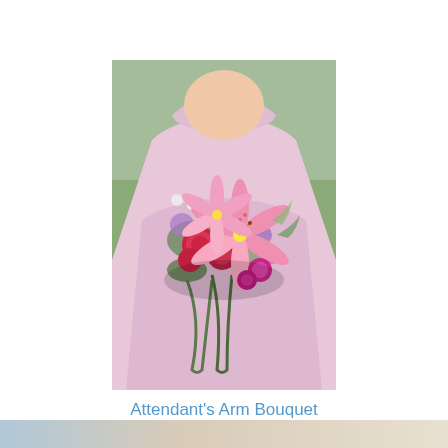[Figure (photo): A woman in a pink/lavender strapless dress holding a large arm bouquet featuring pink stargazer lilies, red roses, purple flowers, and greenery against an outdoor background.]
Attendant's Arm Bouquet
$75.00